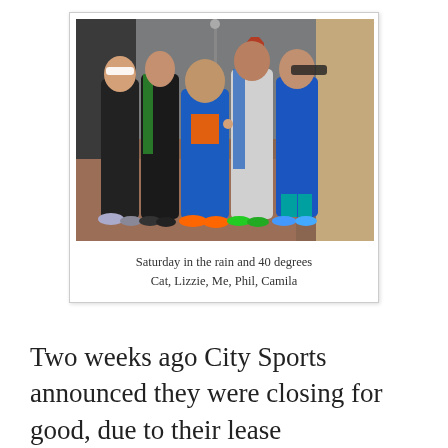[Figure (photo): Five runners posing together on a wet brick sidewalk in the rain. From left to right: Cat (black jacket, white visor), Lizzie (green and black jacket), Me (blue jacket, orange shirt), Phil (white shirt, blue jacket), Camila (blue jacket, teal socks). Street scene in background.]
Saturday in the rain and 40 degrees
Cat, Lizzie, Me, Phil, Camila
Two weeks ago City Sports announced they were closing for good, due to their lease